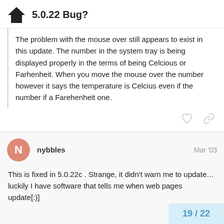5.0.22 Bug?
The problem with the mouse over still appears to exist in this update. The number in the system tray is being displayed properly in the terms of being Celcious or Farhenheit. When you move the mouse over the number however it says the temperature is Celcius even if the number if a Farehenheit one.
nybbles  Mar '03
This is fixed in 5.0.22c . Strange, it didn't warn me to update… luckily I have software that tells me when web pages update[:)]
19 / 22